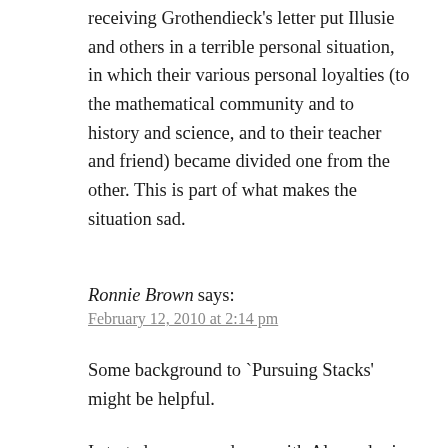receiving Grothendieck's letter put Illusie and others in a terrible personal situation, in which their various personal loyalties (to the mathematical community and to history and science, and to their teacher and friend) became divided one from the other. This is part of what makes the situation sad.
Ronnie Brown says:
February 12, 2010 at 2:14 pm
Some background to `Pursuing Stacks' might be helpful.
I started correspondence with Alexander in 1982...